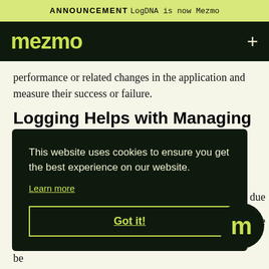ANNOUNCEMENT LogDNA is now Mezmo
[Figure (logo): Mezmo logo on dark green navigation bar with plus icon]
performance or related changes in the application and measure their success or failure.
Logging Helps with Managing New Work vs Technical Debt
[Figure (screenshot): Cookie consent overlay on dark green background. Text: 'This website uses cookies to ensure you get the best experience on our website.' Learn more link and Got it! button.]
into a more reusable component may prove to be